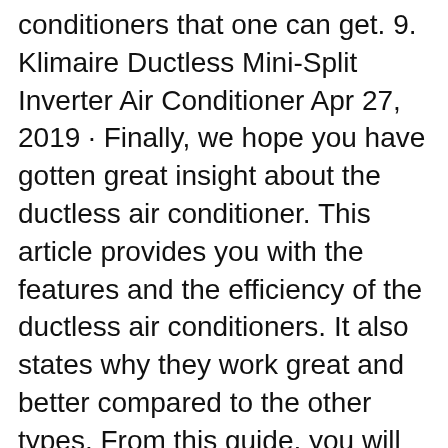conditioners that one can get. 9. Klimaire Ductless Mini-Split Inverter Air Conditioner Apr 27, 2019 · Finally, we hope you have gotten great insight about the ductless air conditioner. This article provides you with the features and the efficiency of the ductless air conditioners. It also states why they work great and better compared to the other types. From this guide, you will learn how to choose the best ductless air conditioner.
If you're in the market for a ventless air conditioner, this is the most cost-effective small room air conditioner you can buy. It can cool a space up to 250 sq. ft., has three cooling modes,